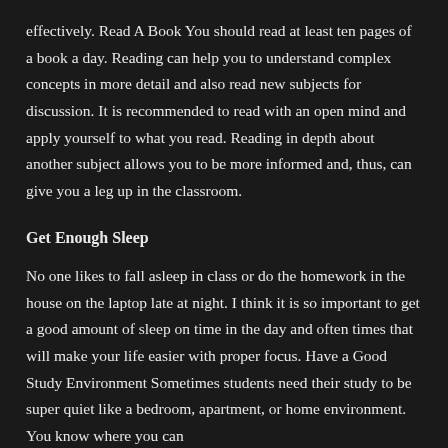effectively. Read A Book You should read at least ten pages of a book a day. Reading can help you to understand complex concepts in more detail and also read new subjects for discussion. It is recommended to read with an open mind and apply yourself to what you read. Reading in depth about another subject allows you to be more informed and, thus, can give you a leg up in the classroom.
Get Enough Sleep
No one likes to fall asleep in class or do the homework in the house on the laptop late at night. I think it is so important to get a good amount of sleep on time in the day and often times that will make your life easier with proper focus. Have a Good Study Environment Sometimes students need their study to be super quiet like a bedroom, apartment, or home environment. You know where you can